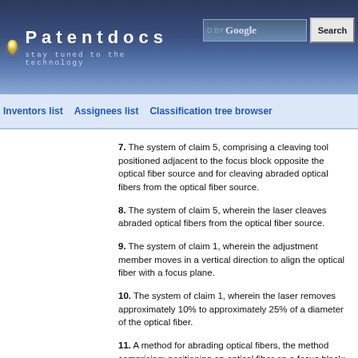Patentdocs — stay tuned to the technology
Inventors list   Assignees list   Classification tree browser
7. The system of claim 5, comprising a cleaving tool positioned adjacent to the focus block opposite the optical fiber source and for cleaving abraded optical fibers from the optical fiber source.
8. The system of claim 5, wherein the laser cleaves abraded optical fibers from the optical fiber source.
9. The system of claim 1, wherein the adjustment member moves in a vertical direction to align the optical fiber with a focus plane.
10. The system of claim 1, wherein the laser removes approximately 10% to approximately 25% of a diameter of the optical fiber.
11. A method for abrading optical fibers, the method comprising: positioning an optical fiber on a focus block; focusing, via an adjustment member, a laser on the optical fiber; and abrading, via the laser, the optical fiber.